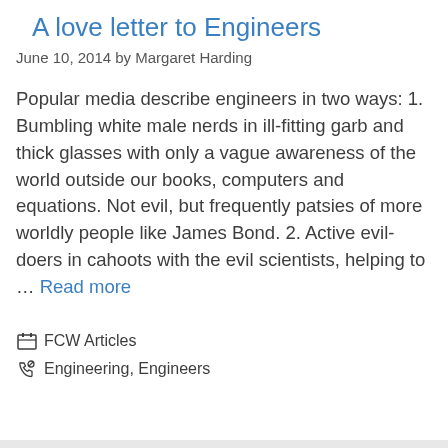A love letter to Engineers
June 10, 2014 by Margaret Harding
Popular media describe engineers in two ways: 1. Bumbling white male nerds in ill-fitting garb and thick glasses with only a vague awareness of the world outside our books, computers and equations. Not evil, but frequently patsies of more worldly people like James Bond. 2. Active evil-doers in cahoots with the evil scientists, helping to … Read more
FCW Articles
Engineering, Engineers